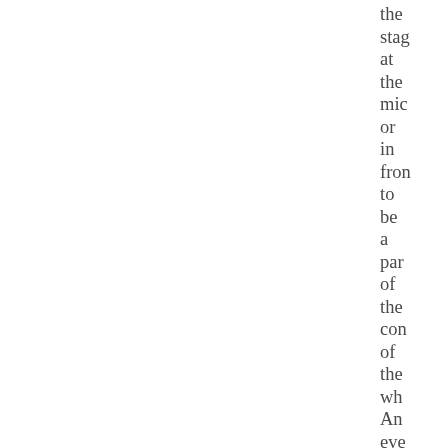the stag at the mic or in fron to be a par of the con of the wh An eve in the mo: